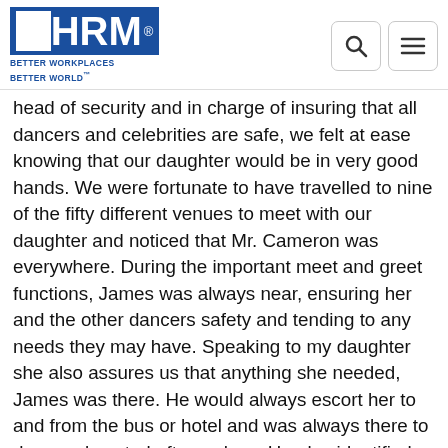[Figure (logo): SHRM logo with blue S block and blue HRM text, tagline: BETTER WORKPLACES BETTER WORLD]
head of security and in charge of insuring that all dancers and celebrities are safe, we felt at ease knowing that our daughter would be in very good hands. We were fortunate to have travelled to nine of the fifty different venues to meet with our daughter and noticed that Mr. Cameron was everywhere. During the important meet and greet functions, James was always near, ensuring her and the other dancers safety and tending to any needs they may have. Speaking to my daughter she also assures us that anything she needed, James was there. He would always escort her to and from the bus or hotel and was always there to do crowd control after a show. He also identified those individuals that would be asking for autographs in order to sell items instead of being true fans and either have them removed or tell the dancers about them so she could bypass them. He also looked after us and the rest of the family when we would visit. He would escort us anywhere we needed or wanted to go and he would always insure we were safe and taken care of. James has been a blessing for us knowing that our daughter is in very competent hands. We feel that James is professional, and he